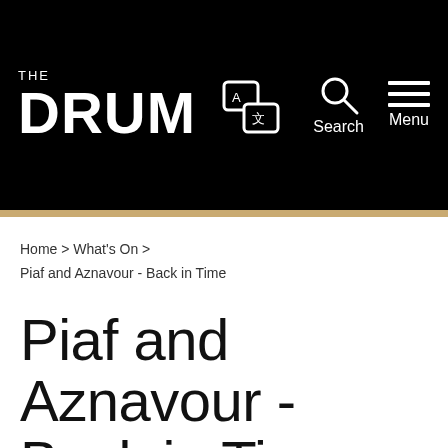THE DRUM
Home > What's On > Piaf and Aznavour - Back in Time
Piaf and Aznavour - Back in Time